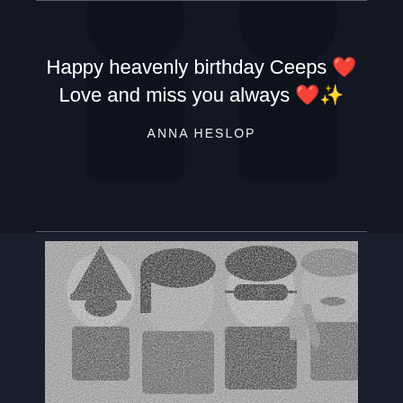[Figure (photo): Dark background photo showing silhouettes of people in the upper section]
Happy heavenly birthday Ceeps ❤️ Love and miss you always ❤️✨
ANNA HESLOP
[Figure (photo): Black and white photo of four young people smiling together at what appears to be a party or social gathering]